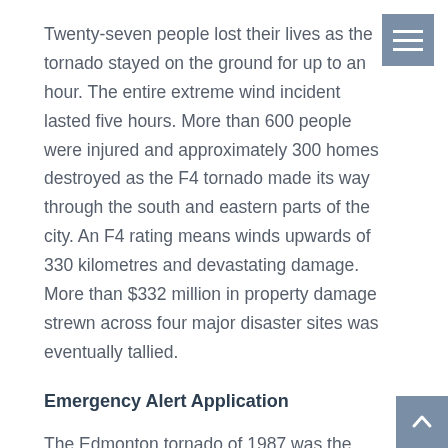Twenty-seven people lost their lives as the tornado stayed on the ground for up to an hour. The entire extreme wind incident lasted five hours. More than 600 people were injured and approximately 300 homes destroyed as the F4 tornado made its way through the south and eastern parts of the city. An F4 rating means winds upwards of 330 kilometres and devastating damage.  More than $332 million in property damage strewn across four major disaster sites was eventually tallied.
Emergency Alert Application
The Edmonton tornado of 1987 was the impetus for the Government of Alberta's creation of the Alberta Emergency Management Agency (AEMA). The AEMA's Emergency Alert system app is an effective way to make sure you are